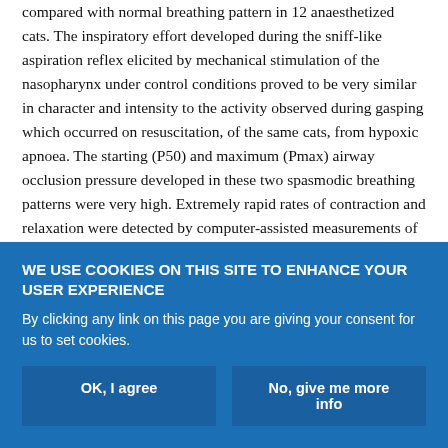compared with normal breathing pattern in 12 anaesthetized cats. The inspiratory effort developed during the sniff-like aspiration reflex elicited by mechanical stimulation of the nasopharynx under control conditions proved to be very similar in character and intensity to the activity observed during gasping which occurred on resuscitation, of the same cats, from hypoxic apnoea. The starting (P50) and maximum (Pmax) airway occlusion pressure developed in these two spasmodic breathing patterns were very high. Extremely rapid rates of contraction and relaxation were detected by computer-assisted measurements of dynamic changes in both the pressure values and the slopes of pressure curves. The results suggest common effector mechanisms reflecting similar functional architecture of the
WE USE COOKIES ON THIS SITE TO ENHANCE YOUR USER EXPERIENCE
By clicking any link on this page you are giving your consent for us to set cookies.